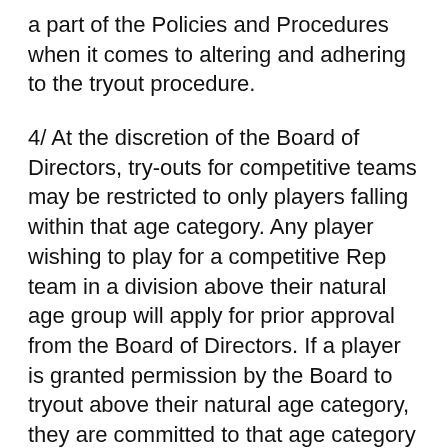a part of the Policies and Procedures when it comes to altering and adhering to the tryout procedure.
4/ At the discretion of the Board of Directors, try-outs for competitive teams may be restricted to only players falling within that age category. Any player wishing to play for a competitive Rep team in a division above their natural age group will apply for prior approval from the Board of Directors. If a player is granted permission by the Board to tryout above their natural age category, they are committed to that age category for that entire Season, will follow the tryout process and forfeit playing in their natural age category.
5/ At times there are circumstances that prevent a player from trying out for a competitive team. It will be the players/parents responsibility to inform the Tryout Committee and the potential Head Coach as to the